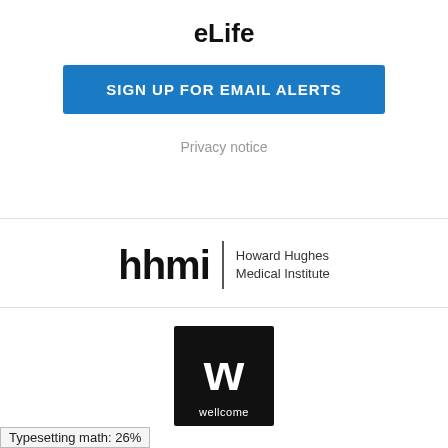eLife
[Figure (other): Blue button with text SIGN UP FOR EMAIL ALERTS]
Privacy notice
[Figure (logo): HHMI Howard Hughes Medical Institute logo]
[Figure (logo): Wellcome logo — black square with white W and wellcome text]
Typesetting math: 26%